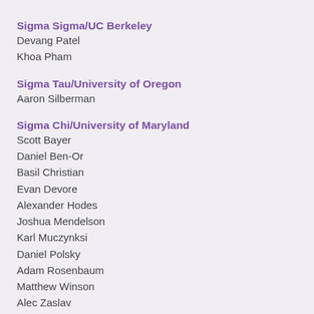Sigma Sigma/UC Berkeley
Devang Patel
Khoa Pham
Sigma Tau/University of Oregon
Aaron Silberman
Sigma Chi/University of Maryland
Scott Bayer
Daniel Ben-Or
Basil Christian
Evan Devore
Alexander Hodes
Joshua Mendelson
Karl Muczynksi
Daniel Polsky
Adam Rosenbaum
Matthew Winson
Alec Zaslav
Mu Epsilon/Miami (FL)
Henry Foreman